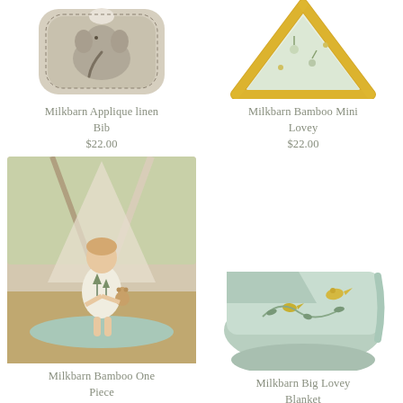[Figure (photo): Milkbarn Applique linen Bib - a beige/linen colored bib with an elephant applique design, shown from above]
Milkbarn Applique linen Bib
$22.00
[Figure (photo): Milkbarn Bamboo Mini Lovey - a triangular/pie-shaped lovey with yellow border and floral/bird pattern on a light background]
Milkbarn Bamboo Mini Lovey
$22.00
[Figure (photo): Milkbarn Bamboo One Piece - a toddler wearing a white onesie with pine tree/forest print, standing outdoors near a teepee on a mint green blanket, holding a stuffed animal]
Milkbarn Bamboo One Piece
[Figure (photo): Milkbarn Big Lovey Blanket - a folded light mint/sage green blanket with yellow bird and botanical print pattern]
Milkbarn Big Lovey Blanket